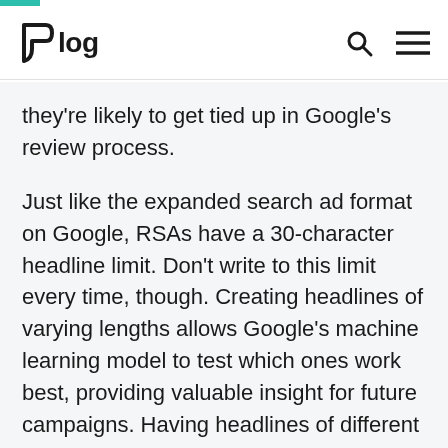Blog
they're likely to get tied up in Google's review process.
Just like the expanded search ad format on Google, RSAs have a 30-character headline limit. Don't write to this limit every time, though. Creating headlines of varying lengths allows Google's machine learning model to test which ones work best, providing valuable insight for future campaigns. Having headlines of different